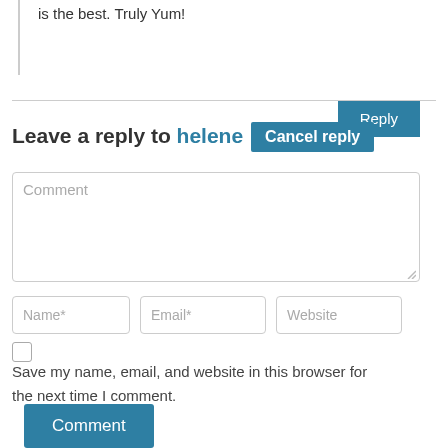is the best. Truly Yum!
Reply
Leave a reply to helene Cancel reply
Comment
Name*
Email*
Website
Save my name, email, and website in this browser for the next time I comment.
Comment